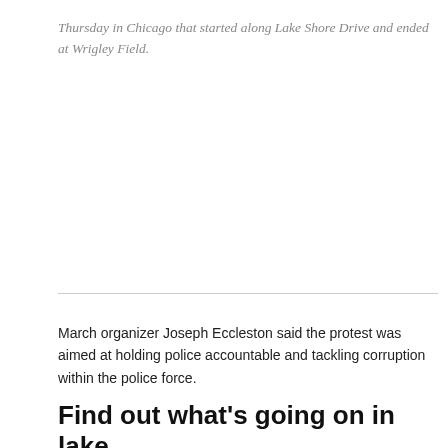Thursday in Chicago that started along Lake Shore Drive and ended at Wrigley Field.
March organizer Joseph Eccleston said the protest was aimed at holding police accountable and tackling corruption within the police force.
Find out what’s going on in lake